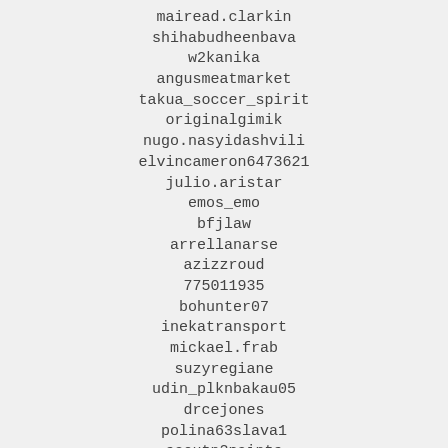mairead.clarkin
shihabudheenbava
w2kanika
angusmeatmarket
takua_soccer_spirit
originalgimik
nugo.nasyidashvili
elvincameron6473621
julio.aristar
emos_emo
bfjlaw
arrellanarse
azizzroud
775011935
bohunter07
inekatransport
mickael.frab
suzyregiane
udin_plknbakau05
drcejones
polina63slava1
scoutn2paints
mfletes.6
yck3000